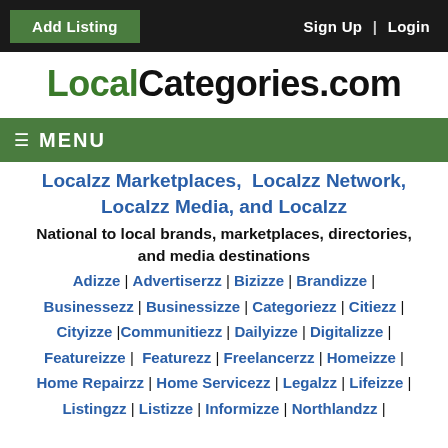Add Listing | Sign Up | Login
LocalCategories.com
≡ MENU
Localzz Marketplaces, Localzz Network, Localzz Media, and Localzz
National to local brands, marketplaces, directories, and media destinations
Adizze | Advertiserzz | Bizizze | Brandizze | Businessezz | Businessizze | Categoriezz | Citiezz | Cityizze |Communitiezz | Dailyizze | Digitalizze | Featureizze | Featurezz | Freelancerzz | Homeizze | Home Repairzz | Home Servicezz | Legalzz | Lifeizze | Listingzz | Listizze | Informizze | Northlandzz |